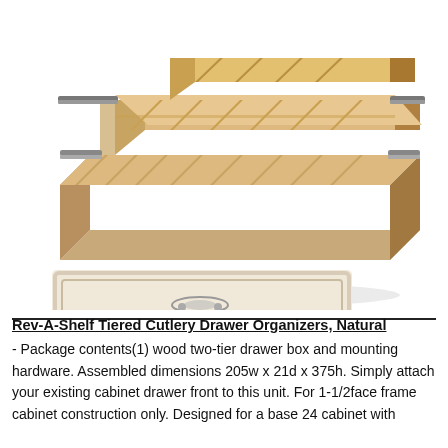[Figure (photo): A wooden two-tier cutlery drawer organizer with multiple compartments for silverware, shown in perspective view with a light wood finish and metal slides. A separate drawer front panel in a cream/white finish is shown below the organizer.]
Rev-A-Shelf Tiered Cutlery Drawer Organizers, Natural
- Package contents(1) wood two-tier drawer box and mounting hardware. Assembled dimensions 205w x 21d x 375h. Simply attach your existing cabinet drawer front to this unit. For 1-1/2face frame cabinet construction only. Designed for a base 24 cabinet with